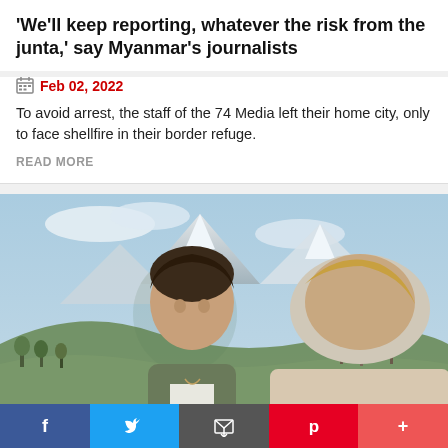'We'll keep reporting, whatever the risk from the junta,' say Myanmar's journalists
Feb 02, 2022
To avoid arrest, the staff of the 74 Media left their home city, only to face shellfire in their border refuge.
READ MORE
[Figure (photo): A young couple smiling outdoors with mountainous landscape in background. A green 'WORLD' badge is overlaid at bottom left, and The Guardian logo appears at bottom right.]